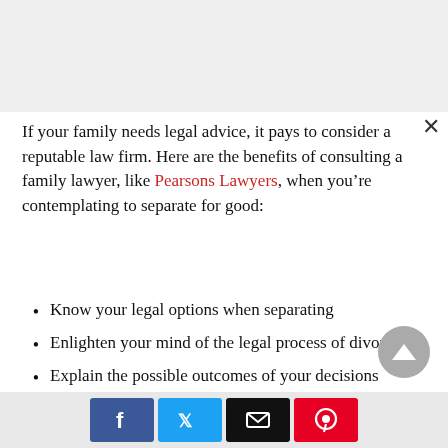If your family needs legal advice, it pays to consider a reputable law firm. Here are the benefits of consulting a family lawyer, like Pearsons Lawyers, when you're contemplating to separate for good:
Know your legal options when separating
Enlighten your mind of the legal process of divorce
Explain the possible outcomes of your decisions